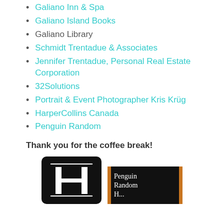Galiano Inn & Spa
Galiano Island Books
Galiano Library
Schmidt Trentadue & Associates
Jennifer Trentadue, Personal Real Estate Corporation
32Solutions
Portrait & Event Photographer Kris Krüg
HarperCollins Canada
Penguin Random
Thank you for the coffee break!
[Figure (logo): HarperCollins Canada logo — black rounded square with white serif letter H]
[Figure (logo): Penguin Random House logo — black rectangle with orange vertical bars and white serif text 'Penguin Random H...']